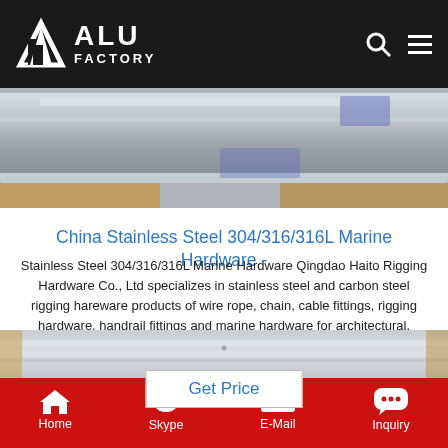ALU FACTORY
[Figure (photo): Stainless steel sheets/plates product photo on cardboard packaging, top view]
China Stainless Steel 304/316/316L Marine Hardware -
Stainless Steel 304/316/316L Marine Hardware Qingdao Haito Rigging Hardware Co., Ltd specializes in stainless steel and carbon steel rigging hareware products of wire rope, chain, cable fittings, rigging hardware, handrail fittings and marine hardware for architectural, construction, lifting, landscaping, shade & sail, marine, DIY, etc. Based on rich experiences, advanced manufacturing
Get Price
[Figure (photo): Stainless steel coil/sheet product close-up photo]
Home  Skype  E-Mail  Inquiry